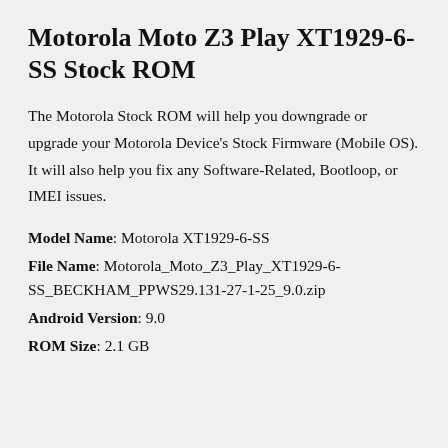Motorola Moto Z3 Play XT1929-6-SS Stock ROM
The Motorola Stock ROM will help you downgrade or upgrade your Motorola Device's Stock Firmware (Mobile OS). It will also help you fix any Software-Related, Bootloop, or IMEI issues.
Model Name: Motorola XT1929-6-SS
File Name: Motorola_Moto_Z3_Play_XT1929-6-SS_BECKHAM_PPWS29.131-27-1-25_9.0.zip
Android Version: 9.0
ROM Size: 2.1 GB